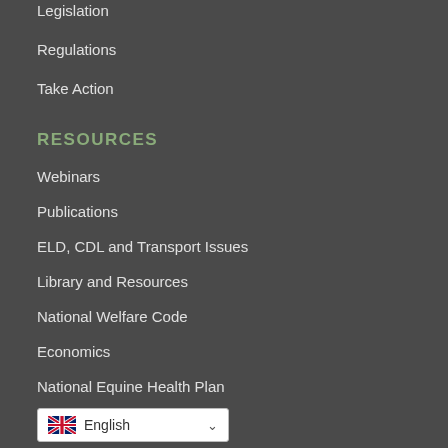Legislation
Regulations
Take Action
RESOURCES
Webinars
Publications
ELD, CDL and Transport Issues
Library and Resources
National Welfare Code
Economics
National Equine Health Plan
Safe Sports
English